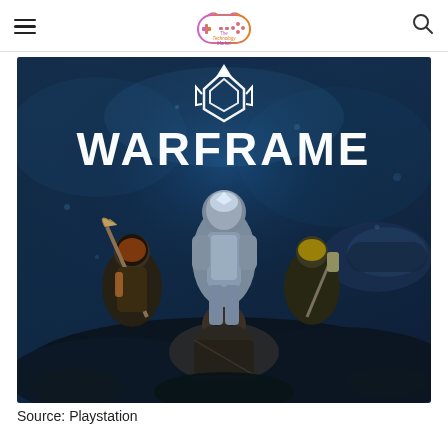The Technology Market (logo/header navigation)
[Figure (photo): Warframe game promotional artwork showing armored sci-fi warrior characters in action poses against a dark blue atmospheric background with the WARFRAME logo prominently displayed in white text]
Source: Playstation